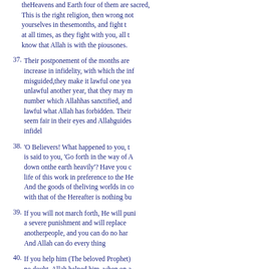theHeavens and Earth four of them are sacred, This is the right religion, then wrong not yourselves in thesemonths, and fight the infidels at all times, as they fight with you, all together, and know that Allah is with the piousones.
37. Their postponement of the months are an increase in infidelity, with which the infidels are misguided,they make it lawful one year and unlawful another year, that they may make up the number which Allahhas sanctified, and make lawful what Allah has forbidden. Their evil deeds seem fair in their eyes and Allahguides not the infidel
38. 'O Believers! What happened to you, that when it is said to you, 'Go forth in the way of Allah, you sit down onthe earth heavily'? Have you chosen the life of this work in preference to the Hereafter? And the goods of theliving worlds in comparison with that of the Hereafter is nothing but little.
39. If you will not march forth, He will punish you with a severe punishment and will replace you with anotherpeople, and you can do no harm to Him. And Allah can do every thing
40. If you help him (The beloved Prophet), there is no doubt, Allah helped him, when on account of the mischiefof the infidels, he was to go out with only two souls, when they both were in the cave, and when he said to hiscompanion 'Grieve not, no doubt Allah is with us', then Allah sent down His satisfaction on him, and helped himwith armies which you did not see, and put down the word of the infidels. It is the word of Allah, alone that is supreme, and Allah is Dominant, Wise.